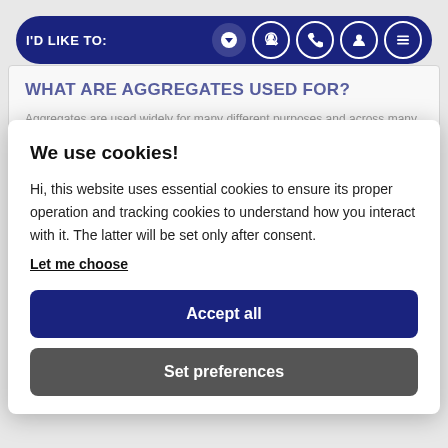I'D LIKE TO:
WHAT ARE AGGREGATES USED FOR?
Aggregates are used widely for many different purposes and across many industries. TJ supplies a range of aggregates to the construction, groundworks, agricultural, landscaping, farming and
We use cookies!
Hi, this website uses essential cookies to ensure its proper operation and tracking cookies to understand how you interact with it. The latter will be set only after consent.
Let me choose
Accept all
Set preferences